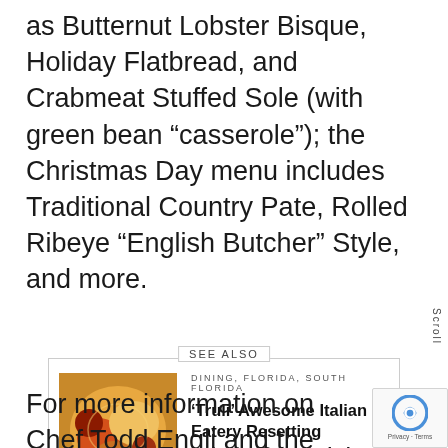as Butternut Lobster Bisque, Holiday Flatbread, and Crabmeat Stuffed Sole (with green bean “casserole”); the Christmas Day menu includes Traditional Country Pate, Rolled Ribeye “English Butcher” Style, and more.
SEE ALSO
[Figure (photo): Food photo showing colorful dishes including what appears to be pasta or seafood with vibrant colors on plates]
DINING, FLORIDA, SOUTH FLORIDA
‘Truli’ Awesome Italian Eatery Resetting Industry Standards in Broward County
Scroll
For more information on Chef Todd Engli and the Todd English Food Hall, visit: